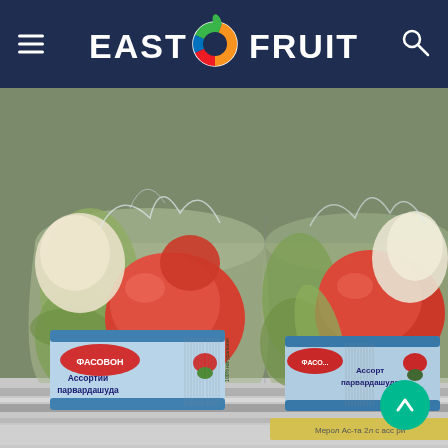EAST FRUIT
[Figure (photo): Two large glass jars of pickled vegetable assortment (tomatoes, cucumbers, onions, peppers) with Cyrillic labels reading 'ФАСОВОН Ассортии парвардашуда', displayed on a store shelf. Price tags visible at bottom.]